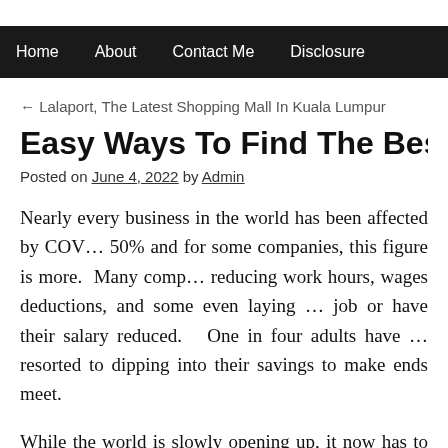Home   About   Contact Me   Disclosure
← Lalaport, The Latest Shopping Mall In Kuala Lumpur
Easy Ways To Find The Best Car Loan O…
Posted on June 4, 2022 by Admin
Nearly every business in the world has been affected by COV… 50% and for some companies, this figure is more. Many comp… reducing work hours, wages deductions, and some even laying … job or have their salary reduced. One in four adults have … resorted to dipping into their savings to make ends meet.
While the world is slowly opening up, it now has to face the … coal, due to Russia's invasion of Ukraine. The most affecte… world is the oil market in which Russia is a major force, being … and exporter. Oil prices have been skyrocketing since th…